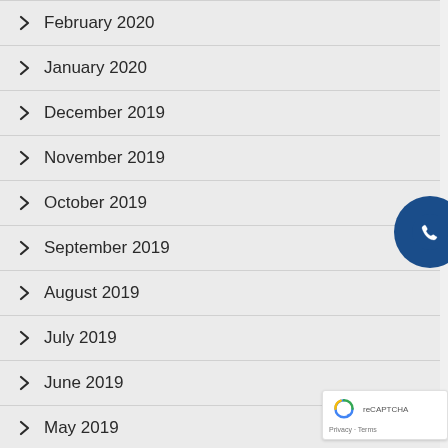February 2020
January 2020
December 2019
November 2019
October 2019
September 2019
August 2019
July 2019
June 2019
May 2019
February 2019